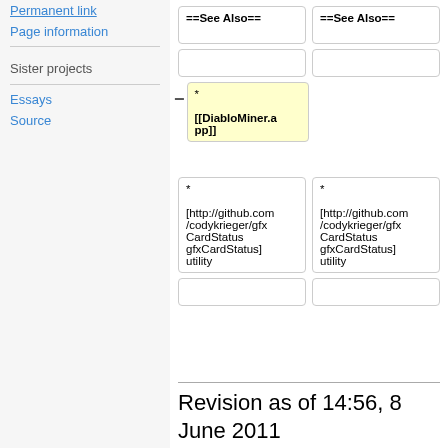Permanent link
Page information
Sister projects
Essays
Source
==See Also==

[empty cell]
*
[[DiabloMiner.app]]

*
[http://github.com/codykrieger/gfxCardStatus gfxCardStatus] utility

[empty cell]
==See Also==

[empty cell]

*
[http://github.com/codykrieger/gfxCardStatus gfxCardStatus] utility

[empty cell]
Revision as of 14:56, 8 June 2011
A application-packaged frontend for RPC Miner that can be run on Mac OS 10.6 or